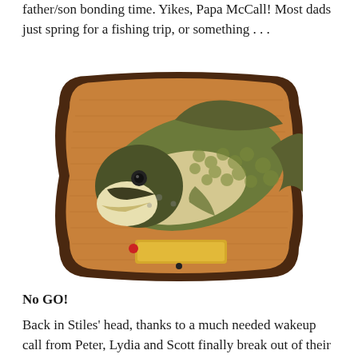father/son bonding time. Yikes, Papa McCall! Most dads just spring for a fishing trip, or something . . .
[Figure (photo): A Big Mouth Billy Bass singing fish novelty plaque mounted on a wood-grain board with dark brown border. The animated fish is gray-green with a cream-colored belly, mounted on a golden name plate with a red button.]
No GO!
Back in Stiles' head, thanks to a much needed wakeup call from Peter, Lydia and Scott finally break out of their